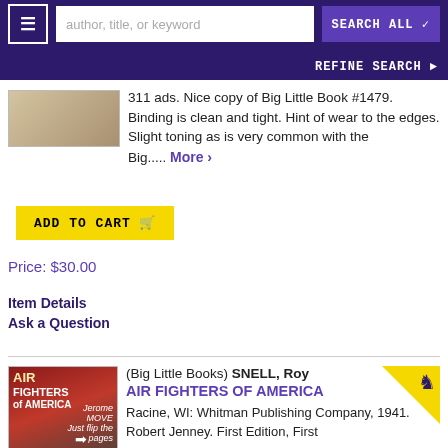author, title, or keyword | SEARCH ALL | REFINE SEARCH
311 ads. Nice copy of Big Little Book #1479. Binding is clean and tight. Hint of wear to the edges. Slight toning as is very common with the Big..... More >
ADD TO CART
Price: $30.00
Item Details
Ask a Question
(Big Little Books) SNELL, Roy
AIR FIGHTERS OF AMERICA
Racine, WI: Whitman Publishing Company, 1941. Robert Jenney. First Edition, First